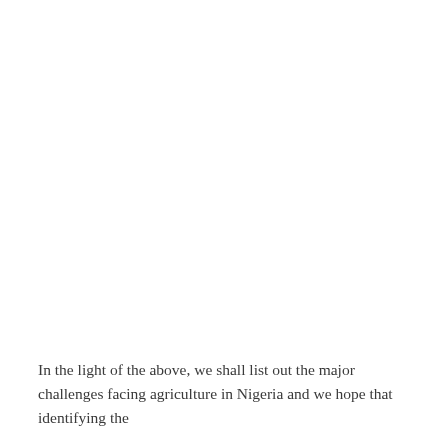In the light of the above, we shall list out the major challenges facing agriculture in Nigeria and we hope that identifying the